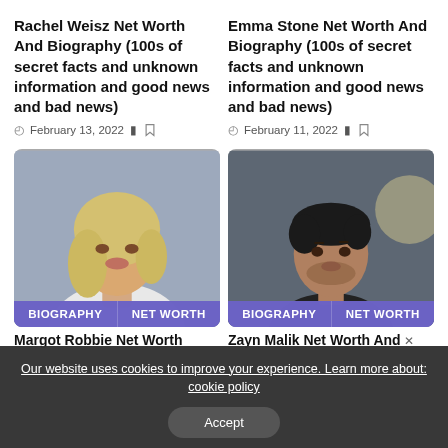Rachel Weisz Net Worth And Biography (100s of secret facts and unknown information and good news and bad news)
February 13, 2022
Emma Stone Net Worth And Biography (100s of secret facts and unknown information and good news and bad news)
February 11, 2022
[Figure (photo): Blonde woman in white top, portrait photo with BIOGRAPHY and NET WORTH tags]
[Figure (photo): Young man with dark hair, portrait photo with BIOGRAPHY and NET WORTH tags]
Margot Robbie Net Worth
Zayn Malik Net Worth And...
Our website uses cookies to improve your experience. Learn more about: cookie policy